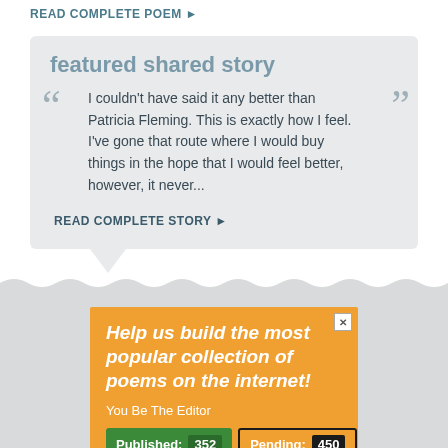READ COMPLETE POEM ►
featured shared story
I couldn't have said it any better than Patricia Fleming. This is exactly how I feel. I've gone that route where I would buy things in the hope that I would feel better, however, it never...
READ COMPLETE STORY ►
[Figure (infographic): Orange advertisement box for a poem collection website. Headline: 'Help us build the most popular collection of poems on the internet!' Subtext: 'You Be The Editor'. Stats bar showing Published: 352 and Pending: 450 with a close button (X) in the top right.]